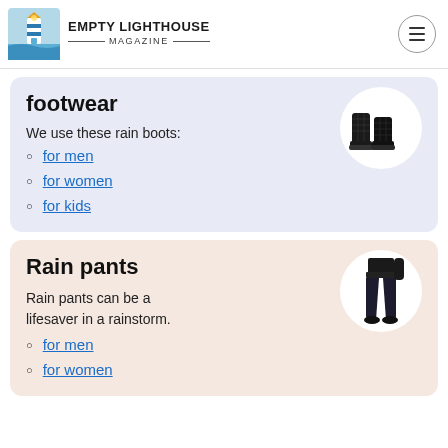Empty Lighthouse Magazine
footwear
We use these rain boots:
for men
for women
for kids
[Figure (photo): Black rain boots on a white circular background]
Rain pants
Rain pants can be a lifesaver in a rainstorm.
for men
for women
[Figure (photo): Person wearing dark rain pants on a white circular background]